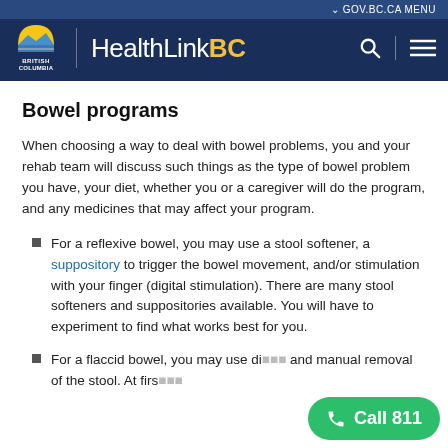GOV.BC.CA MENU | HealthLinkBC
Bowel programs
When choosing a way to deal with bowel problems, you and your rehab team will discuss such things as the type of bowel problem you have, your diet, whether you or a caregiver will do the program, and any medicines that may affect your program.
For a reflexive bowel, you may use a stool softener, a suppository to trigger the bowel movement, and/or stimulation with your finger (digital stimulation). There are many stool softeners and suppositories available. You will have to experiment to find what works best for you.
For a flaccid bowel, you may use di... and manual removal of the stool. At firs...